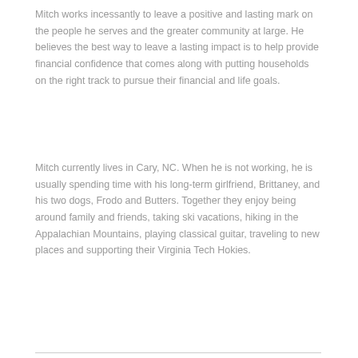Mitch works incessantly to leave a positive and lasting mark on the people he serves and the greater community at large. He believes the best way to leave a lasting impact is to help provide financial confidence that comes along with putting households on the right track to pursue their financial and life goals.
Mitch currently lives in Cary, NC. When he is not working, he is usually spending time with his long-term girlfriend, Brittaney, and his two dogs, Frodo and Butters. Together they enjoy being around family and friends, taking ski vacations, hiking in the Appalachian Mountains, playing classical guitar, traveling to new places and supporting their Virginia Tech Hokies.